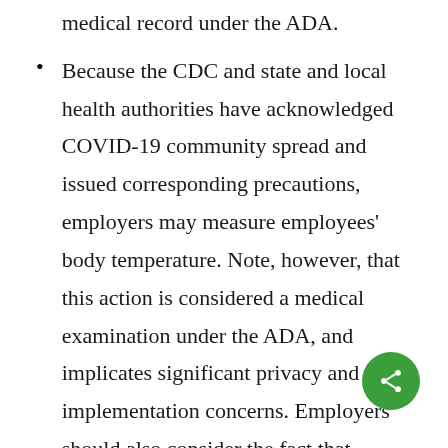medical record under the ADA.
Because the CDC and state and local health authorities have acknowledged COVID-19 community spread and issued corresponding precautions, employers may measure employees' body temperature. Note, however, that this action is considered a medical examination under the ADA, and implicates significant privacy and implementation concerns. Employers should also consider the fact that individuals with COVID-19 may not have a fever in determining whether to take this